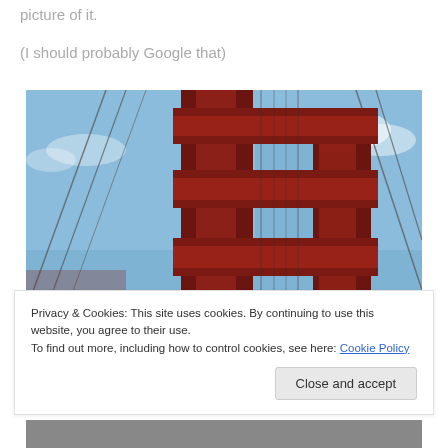picture of it.
(I should probably Google that)
[Figure (photo): Close-up upward-angle photograph of a red Golden Gate Bridge tower against a blue sky with light clouds and suspension cables visible.]
Privacy & Cookies: This site uses cookies. By continuing to use this website, you agree to their use.
To find out more, including how to control cookies, see here: Cookie Policy
Close and accept